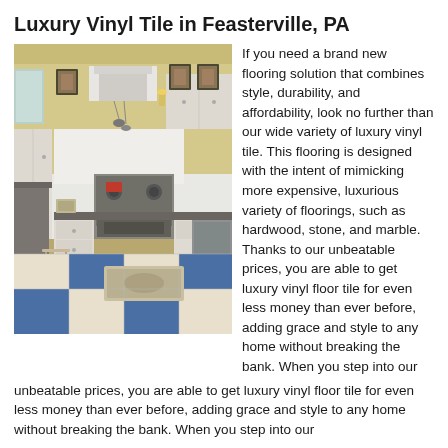Luxury Vinyl Tile in Feasterville, PA
[Figure (photo): Kitchen interior with blue and cream checkered luxury vinyl tile floor, white cabinets, stainless steel appliances, bar stool, and small rug.]
If you need a brand new flooring solution that combines style, durability, and affordability, look no further than our wide variety of luxury vinyl tile. This flooring is designed with the intent of mimicking more expensive, luxurious variety of floorings, such as hardwood, stone, and marble. Thanks to our unbeatable prices, you are able to get luxury vinyl floor tile for even less money than ever before, adding grace and style to any home without breaking the bank. When you step into our